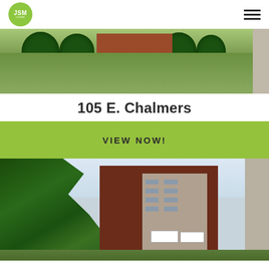JSM Living - navigation header with logo and hamburger menu
[Figure (photo): Exterior photo of a low-rise brick apartment building with trimmed round bushes and green lawn]
105 E. Chalmers
VIEW NOW!
[Figure (photo): Exterior photo of a tall dark brick multi-story apartment building with a large tree in the foreground and a lighter building visible behind it]